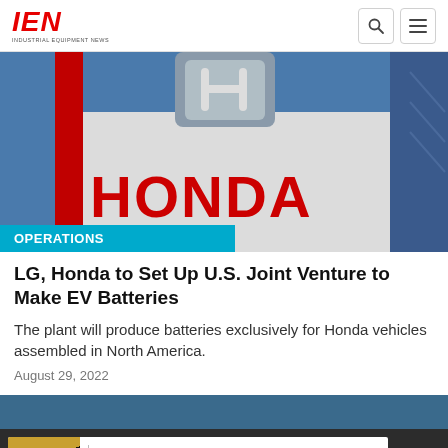IEN — INDUSTRIAL EQUIPMENT NEWS
[Figure (photo): Honda logo and branding on a building facade with blue background and red Honda lettering]
OPERATIONS
LG, Honda to Set Up U.S. Joint Venture to Make EV Batteries
The plant will produce batteries exclusively for Honda vehicles assembled in North America.
August 29, 2022
[Figure (photo): Partial view of another article image with dark blue background]
[Figure (other): Oracle NetSuite advertisement — CFO Guide: 4 Inflation Metrics to Watch Now]